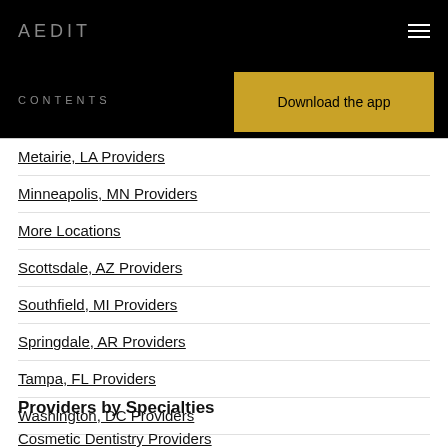AEDIT
CONTENTS
Download the app
Metairie, LA Providers
Minneapolis, MN Providers
More Locations
Scottsdale, AZ Providers
Southfield, MI Providers
Springdale, AR Providers
Tampa, FL Providers
Washington, DC Providers
Providers by Specialties
Cosmetic Dentistry Providers